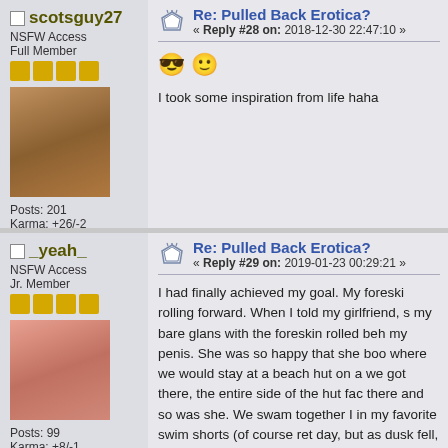scotsguy27 | NSFW Access | Full Member | Posts: 201 | Karma: +26/-2
Re: Pulled Back Erotica? « Reply #28 on: 2018-12-30 22:47:10 »
I took some inspiration from life haha
_yeah_ | NSFW Access | Jr. Member | Posts: 99 | Karma: +8/-1
Re: Pulled Back Erotica? « Reply #29 on: 2019-01-23 00:29:21 »
I had finally achieved my goal. My foreski rolling forward. When I told my girlfriend, s my bare glans with the foreskin rolled beh my penis. She was so happy that she boo where we would stay at a beach hut on a we got there, the entire side of the hut fac there and so was she. We swam together I in my favorite swim shorts (of course ret day, but as dusk fell, the real experience w the moment when we could test out my n